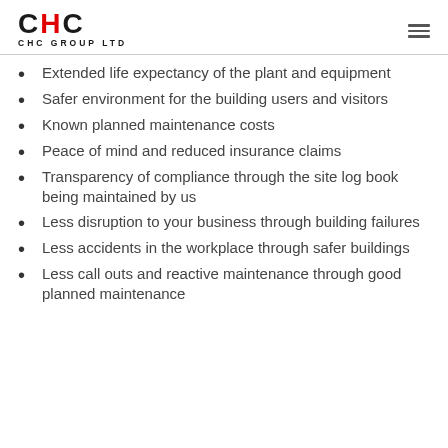CHC GROUP LTD
Extended life expectancy of the plant and equipment
Safer environment for the building users and visitors
Known planned maintenance costs
Peace of mind and reduced insurance claims
Transparency of compliance through the site log book being maintained by us
Less disruption to your business through building failures
Less accidents in the workplace through safer buildings
Less call outs and reactive maintenance through good planned maintenance